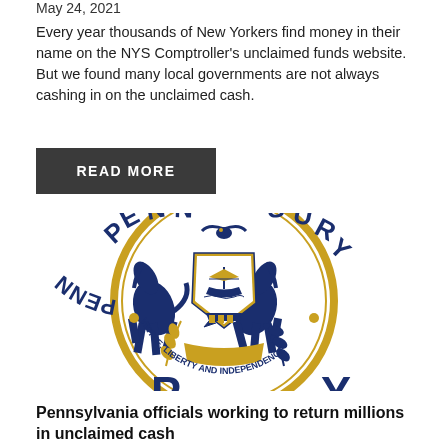May 24, 2021
Every year thousands of New Yorkers find money in their name on the NYS Comptroller's unclaimed funds website. But we found many local governments are not always cashing in on the unclaimed cash.
READ MORE
[Figure (logo): Pennsylvania Treasury seal showing two horses flanking a shield with a ship, eagle above, wheat and olive branches below, motto 'VIRTUE, LIBERTY AND INDEPENDENCE', surrounded by circular text 'PENN... ...SURY', gold and navy blue colors]
Pennsylvania officials working to return millions in unclaimed cash